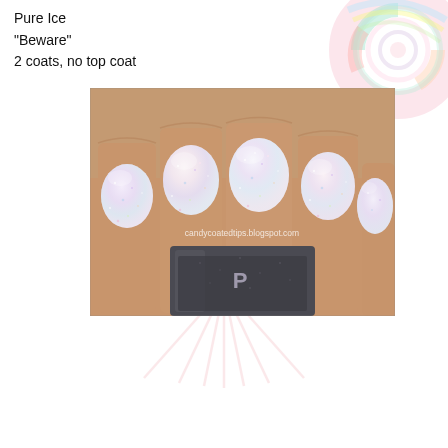Pure Ice
"Beware"
2 coats, no top coat
[Figure (photo): Close-up photo of a hand with nails painted in Pure Ice 'Beware' nail polish - a sheer holographic/glitter polish with rainbow shimmer. A dark glitter nail polish bottle is visible in the lower portion. Watermark reads candycoatedtips.blogspot.com. Background shows a colorful swirled lollipop and a pink hanger/chevron shape.]